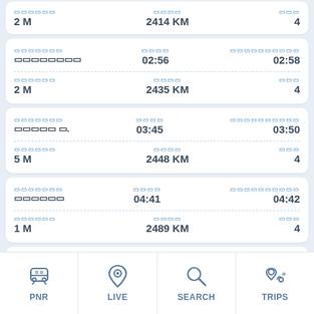| स्थिति | समय | दिन |
| --- | --- | --- |
| 2 M | 2414 KM | 4 |
| स्टेशन | आगमन | प्रस्थान |
| --- | --- | --- |
| □□□□□□□□ | 02:56 | 02:58 |
| स्थिति | समय | दिन |
| --- | --- | --- |
| 2 M | 2435 KM | 4 |
| स्टेशन | आगमन | प्रस्थान |
| --- | --- | --- |
| □□□□ □. | 03:45 | 03:50 |
| स्थिति | समय | दिन |
| --- | --- | --- |
| 5 M | 2448 KM | 4 |
| स्टेशन | आगमन | प्रस्थान |
| --- | --- | --- |
| □□□□□□ | 04:41 | 04:42 |
| स्थिति | समय | दिन |
| --- | --- | --- |
| 1 M | 2489 KM | 4 |
[Figure (screenshot): Bottom navigation bar with PNR, LIVE, SEARCH, TRIPS icons]